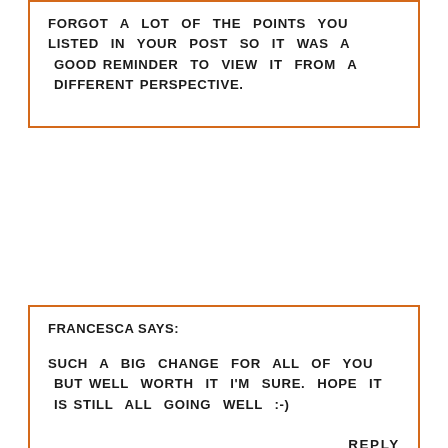FORGOT A LOT OF THE POINTS YOU LISTED IN YOUR POST SO IT WAS A GOOD REMINDER TO VIEW IT FROM A DIFFERENT PERSPECTIVE.
FRANCESCA SAYS:
SUCH A BIG CHANGE FOR ALL OF YOU BUT WELL WORTH IT I'M SURE. HOPE IT IS STILL ALL GOING WELL :-)
REPLY